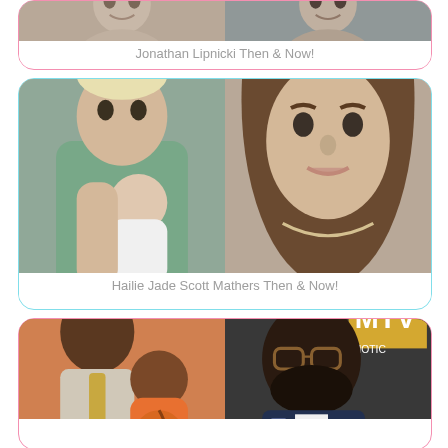[Figure (photo): Card showing Jonathan Lipnicki then and now - two photos side by side, young and older]
Jonathan Lipnicki Then & Now!
[Figure (photo): Card showing Hailie Jade Scott Mathers then and now - left photo of Eminem holding baby Hailie, right photo of Hailie as young adult woman]
Hailie Jade Scott Mathers Then & Now!
[Figure (photo): Card showing Michael Jordan's son then and now - left photo of Michael Jordan holding young son at basketball game, right photo of son as adult man in suit]